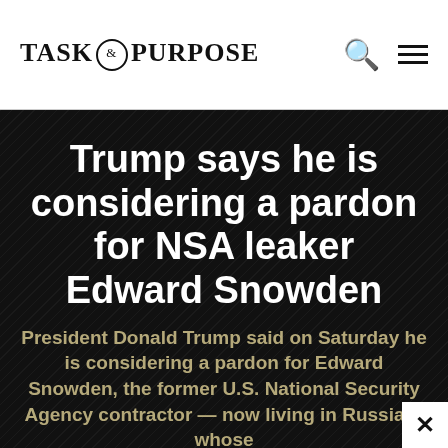TASK & PURPOSE
Trump says he is considering a pardon for NSA leaker Edward Snowden
President Donald Trump said on Saturday he is considering a pardon for Edward Snowden, the former U.S. National Security Agency contractor — now living in Russia— whose